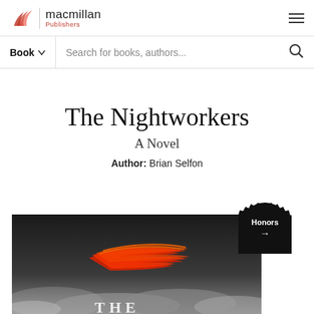[Figure (logo): Macmillan Publishers logo with red feather icon, vertical divider, and text 'macmillan Publishers']
Book ∨  Search for books, authors...  🔍
The Nightworkers
A Novel
Author:  Brian Selfon
[Figure (photo): Book cover of The Nightworkers: dark gray/black background with dramatic red brushstroke in center, clouds below, white text 'THE' visible at bottom. A black circular 'Honors →' badge overlays the top-right of the cover.]